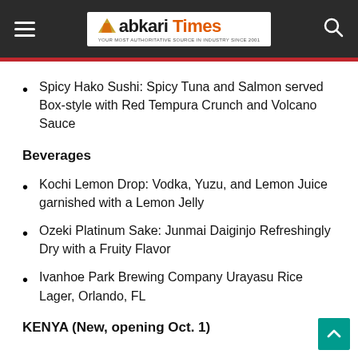Abkari Times
Spicy Hako Sushi: Spicy Tuna and Salmon served Box-style with Red Tempura Crunch and Volcano Sauce
Beverages
Kochi Lemon Drop: Vodka, Yuzu, and Lemon Juice garnished with a Lemon Jelly
Ozeki Platinum Sake: Junmai Daiginjo Refreshingly Dry with a Fruity Flavor
Ivanhoe Park Brewing Company Urayasu Rice Lager, Orlando, FL
KENYA (New, opening Oct. 1)